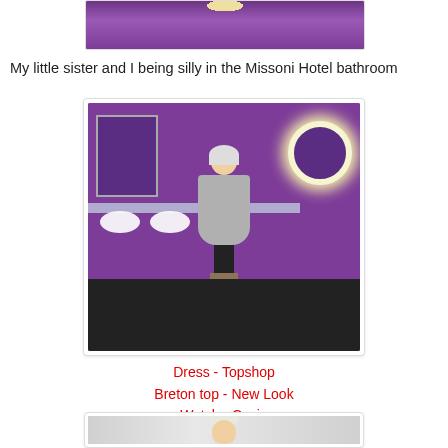[Figure (photo): Top portion of a photo showing a purple hotel bathroom with a round illuminated mirror at the top]
My little sister and I being silly in the Missoni Hotel bathroom
[Figure (photo): Woman with blonde hair and glasses wearing a grey patterned dress, Breton top, and Converse shoes standing in the purple Missoni Hotel bathroom with round lit mirror]
Dress - Topshop
Breton top - New Look
Watch - Casio
Shoes - Converse
[Figure (photo): Bottom portion showing another photo of a person in a striped background setting, only top of head visible]